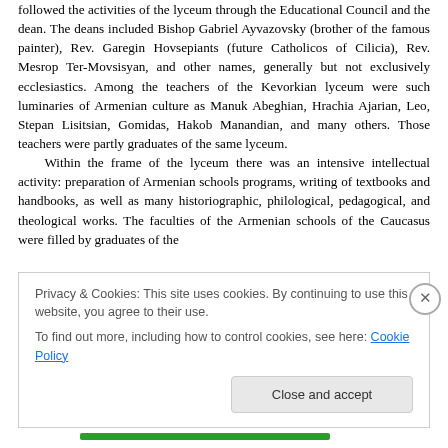followed the activities of the lyceum through the Educational Council and the dean. The deans included Bishop Gabriel Ayvazovsky (brother of the famous painter), Rev. Garegin Hovsepiants (future Catholicos of Cilicia), Rev. Mesrop Ter-Movsisyan, and other names, generally but not exclusively ecclesiastics. Among the teachers of the Kevorkian lyceum were such luminaries of Armenian culture as Manuk Abeghian, Hrachia Ajarian, Leo, Stepan Lisitsian, Gomidas, Hakob Manandian, and many others. Those teachers were partly graduates of the same lyceum.
Within the frame of the lyceum there was an intensive intellectual activity: preparation of Armenian schools programs, writing of textbooks and handbooks, as well as many historiographic, philological, pedagogical, and theological works. The faculties of the Armenian schools of the Caucasus were filled by graduates of the
Privacy & Cookies: This site uses cookies. By continuing to use this website, you agree to their use.
To find out more, including how to control cookies, see here: Cookie Policy